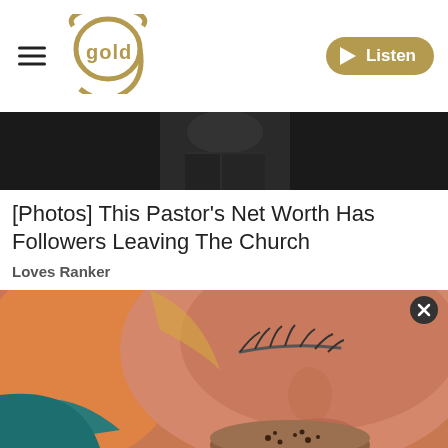gold | Listen
[Figure (photo): Dark background partial image strip showing a person, top portion cut off]
[Photos] This Pastor's Net Worth Has Followers Leaving The Church
Loves Ranker
[Figure (photo): Close-up photo of a freckled woman with closed eyes smelling from a small round wooden bowl containing spices/coffee]